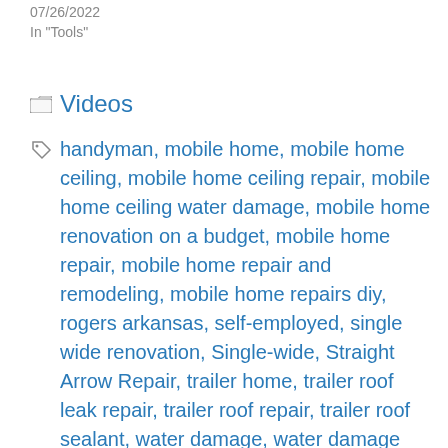07/26/2022
In "Tools"
Videos
handyman, mobile home, mobile home ceiling, mobile home ceiling repair, mobile home ceiling water damage, mobile home renovation on a budget, mobile home repair, mobile home repair and remodeling, mobile home repairs diy, rogers arkansas, self-employed, single wide renovation, Single-wide, Straight Arrow Repair, trailer home, trailer roof leak repair, trailer roof repair, trailer roof sealant, water damage, water damage ceiling repair, water damage